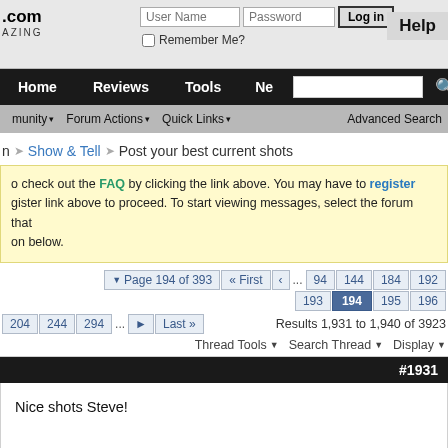.com AZING — User Name | Password | Log in | Help | Remember Me?
Home | Reviews | Tools | Ne[ws] | [search box]
community ▾  Forum Actions ▾  Quick Links ▾  Advanced Search
n ❯ Show & Tell ❯ Post your best current shots
o check out the FAQ by clicking the link above. You may have to register using the register link above to proceed. To start viewing messages, select the forum that on below.
▼ Page 194 of 393  ◄◄ First  ◄  ... 94  144  184  192  193  194  195  196  204  244  294  ...  ►  Last ►► — Results 1,931 to 1,940 of 3923
Thread Tools ▾    Search Thread ▾    Display ▾
#1931
Nice shots Steve!

Wow.., that must of been a really rough game!

Rich